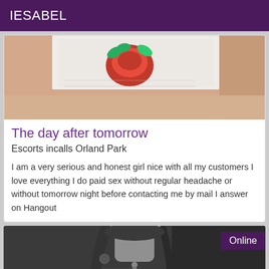IESABEL
[Figure (photo): Close-up photo of a person wearing white lace lingerie with a red floral embroidery detail]
The day after tomorrow
Escorts incalls Orland Park
I am a very serious and honest girl nice with all my customers I love everything I do paid sex without regular headache or without tomorrow night before contacting me by mail I answer on Hangout
[Figure (photo): Black and white photo of a young woman with long hair wearing a necklace and a white top, with an Online badge in the top right corner]